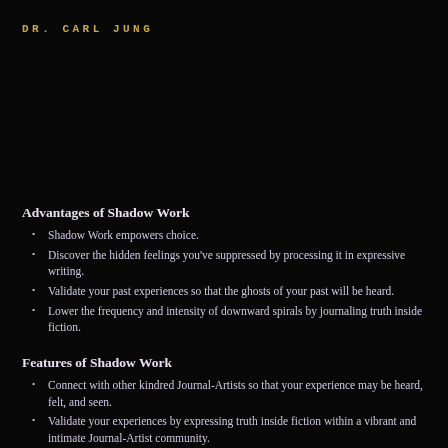DR. CARL JUNG
Advantages of Shadow Work
Shadow Work empowers choice.
Discover the hidden feelings you've suppressed by processing it in expressive writing.
Validate your past experiences so that the ghosts of your past will be heard.
Lower the frequency and intensity of downward spirals by journaling truth inside fiction.
Features of Shadow Work
Connect with other kindred Journal-Artists so that your experience may be heard, felt, and seen.
Validate your experiences by expressing truth inside fiction within a vibrant and intimate Journal-Artist community.
Discern Shadows based on truth and Shadows based on life-lies through the